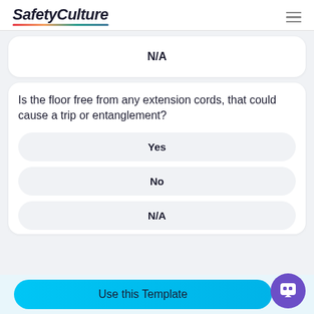SafetyCulture
N/A
Is the floor free from any extension cords, that could cause a trip or entanglement?
Yes
No
N/A
Use this Template